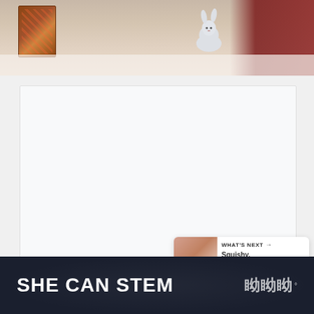[Figure (photo): Partial photo showing a child in a red outfit at a white table with a cardboard box and a white rabbit figurine, cropped at the top of the page]
[Figure (screenshot): White/light gray content area placeholder box occupying the center of the page, with a blue heart/favorite button and a white share button overlaid on the right side, and a 'What's Next' card showing a thumbnail image and text 'Squishy, Soapy, Clea...']
WHAT'S NEXT → Squishy, Soapy, Clea...
SHE CAN STEM